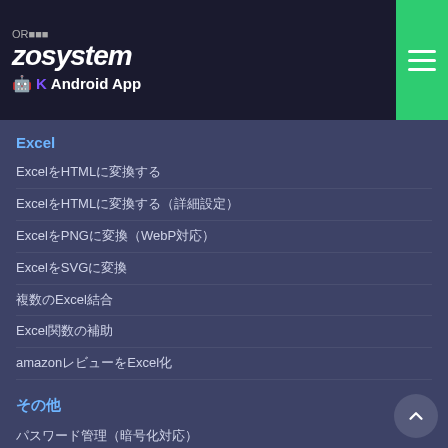zosystem Android App
Excel
ExcelをHTMLに変換する
ExcelをHTMLに変換する（詳細設定）
ExcelをPNGに変換（WebP対応）
ExcelをSVGに変換
複数のExcel結合
Excel関数の補助
amazonレビューをExcel化
その他
パスワード管理（暗号化対応）
パスワード管理（PWA版）
3D
３Dオブジェクトを表示
３Dオブジェクトを操作